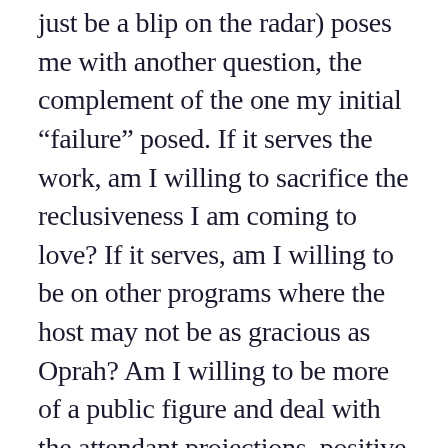just be a blip on the radar) poses me with another question, the complement of the one my initial “failure” posed. If it serves the work, am I willing to sacrifice the reclusiveness I am coming to love? If it serves, am I willing to be on other programs where the host may not be as gracious as Oprah? Am I willing to be more of a public figure and deal with the attendant projections, positive and negative? Do I have the strength to remember who the real super souls are – the Roy Brubakers, the dolphin rescuers, the hospice workers, the care givers, the peace witnesses, the unpaid healers, the humble grandfathers taking a child